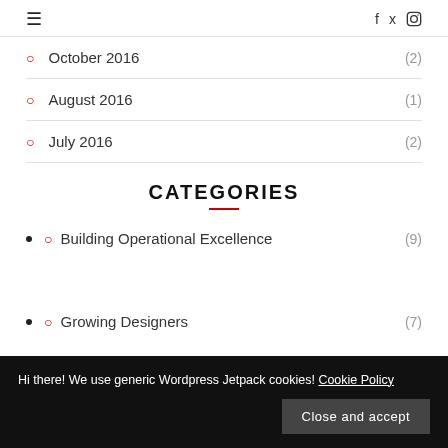≡  f  🐦  ◻
October 2016  (2)
August 2016  (1)
July 2016  (2)
CATEGORIES
Building Operational Excellence  (9)
Hi there! We use generic Wordpress Jetpack cookies! Cookie Policy  Close and accept
Growing Designers  (7)